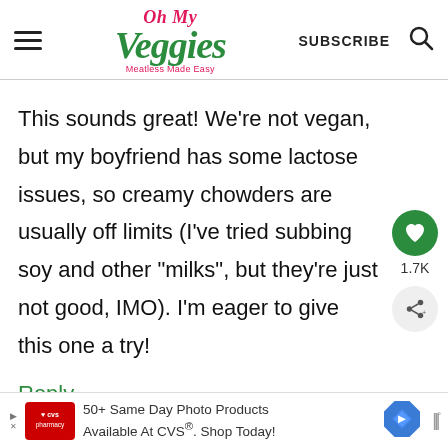Oh My Veggies — Meatless Made Easy | SUBSCRIBE
This sounds great! We're not vegan, but my boyfriend has some lactose issues, so creamy chowders are usually off limits (I've tried subbing soy and other "milks", but they're just not good, IMO). I'm eager to give this one a try!
Reply
[Figure (screenshot): CVS Pharmacy advertisement: 50+ Same Day Photo Products Available At CVS®. Shop Today!]